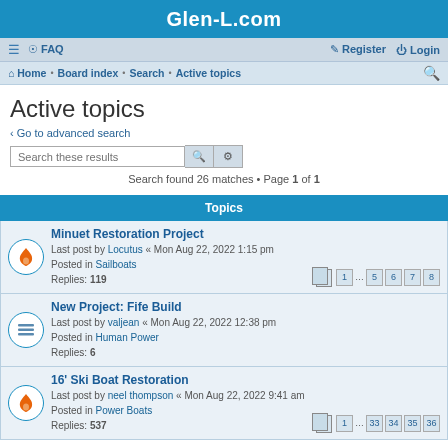Glen-L.com
FAQ  Register  Login
Home · Board index · Search · Active topics
Active topics
< Go to advanced search
Search these results
Search found 26 matches • Page 1 of 1
Topics
Minuet Restoration Project
Last post by Locutus « Mon Aug 22, 2022 1:15 pm
Posted in Sailboats
Replies: 119
Pages: 1 … 5 6 7 8
New Project: Fife Build
Last post by valjean « Mon Aug 22, 2022 12:38 pm
Posted in Human Power
Replies: 6
16' Ski Boat Restoration
Last post by neel thompson « Mon Aug 22, 2022 9:41 am
Posted in Power Boats
Replies: 537
Pages: 1 … 33 34 35 36